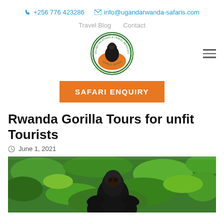📞 +256 776 423286   ✉ info@ugandarwanda-safaris.com
Travel Blog   Contact
[Figure (logo): Safari Vacations & Travel Services circular logo with a gorilla silhouette and orange/green design]
SAFARI ENQUIRY
Rwanda Gorilla Tours for unfit Tourists
June 1, 2021
[Figure (photo): A black gorilla photographed among green tropical vegetation]